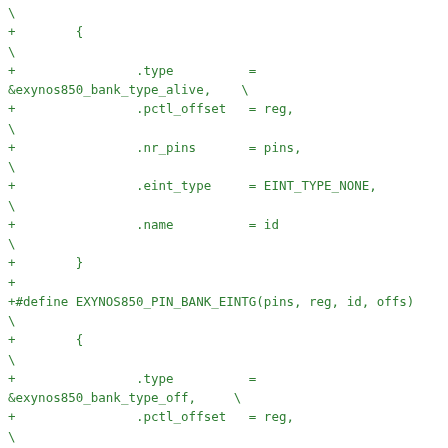code diff showing EXYNOS850 pin bank macro definitions in C